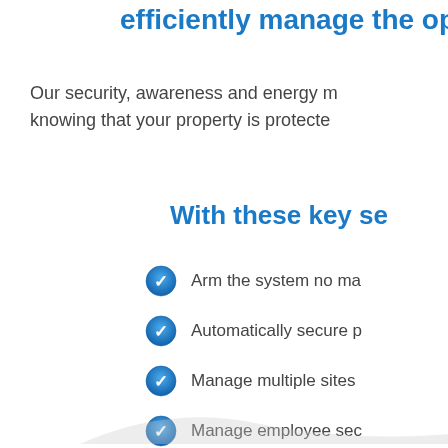efficiently manage the op
Our security, awareness and energy m
knowing that your property is protecte
With these key se
Arm the system no ma
Automatically secure p
Manage multiple sites
Manage employee sec
Receive Daily/Weekly
Get instant visual verif